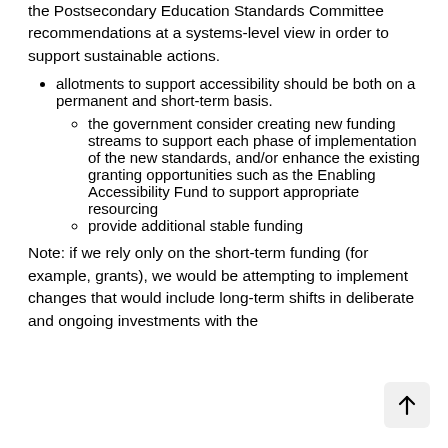the Postsecondary Education Standards Committee recommendations at a systems-level view in order to support sustainable actions.
allotments to support accessibility should be both on a permanent and short-term basis.
the government consider creating new funding streams to support each phase of implementation of the new standards, and/or enhance the existing granting opportunities such as the Enabling Accessibility Fund to support appropriate resourcing
provide additional stable funding
Note: if we rely only on the short-term funding (for example, grants), we would be attempting to implement changes that would include long-term shifts in deliberate and ongoing investments with the